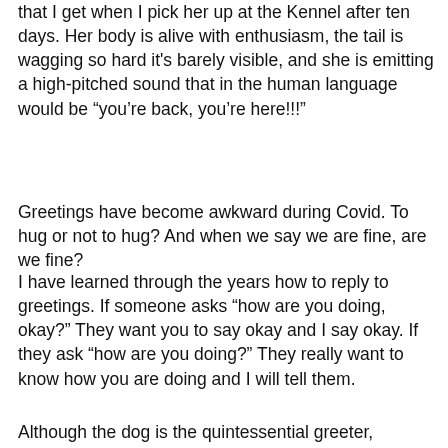that I get when I pick her up at the Kennel after ten days. Her body is alive with enthusiasm, the tail is wagging so hard it's barely visible, and she is emitting a high-pitched sound that in the human language would be “you’re back, you’re here!!!”
Greetings have become awkward during Covid. To hug or not to hug? And when we say we are fine, are we fine?
I have learned through the years how to reply to greetings. If someone asks “how are you doing, okay?” They want you to say okay and I say okay. If they ask “how are you doing?” They really want to know how you are doing and I will tell them.
Although the dog is the quintessential greeter,